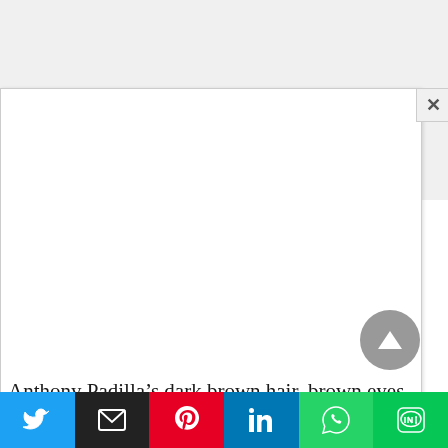[Figure (screenshot): A modal/popup overlay box with a white background and close (X) button in top right corner, appearing over a light grey page background.]
Anthony Padilla’s dark brown hair, brown eyes,
[Figure (infographic): Social media share bar with six buttons: Twitter (blue bird), Email (black envelope), Pinterest (red P), LinkedIn (blue in), WhatsApp (green phone), LINE (green bubble).]